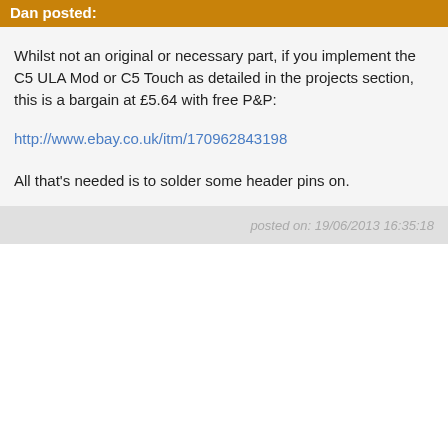Dan posted:
Whilst not an original or necessary part, if you implement the C5 ULA Mod or C5 Touch as detailed in the projects section, this is a bargain at £5.64 with free P&P:
http://www.ebay.co.uk/itm/170962843198
All that's needed is to solder some header pins on.
posted on: 19/06/2013 16:35:18